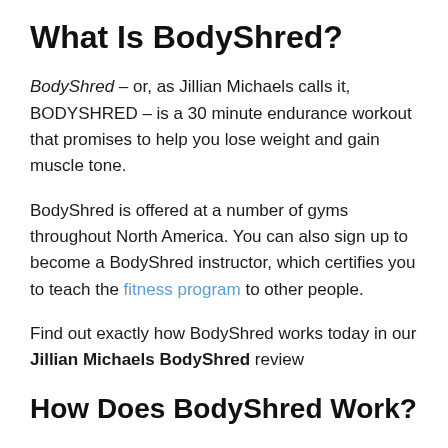What Is BodyShred?
BodyShred – or, as Jillian Michaels calls it, BODYSHRED – is a 30 minute endurance workout that promises to help you lose weight and gain muscle tone.
BodyShred is offered at a number of gyms throughout North America. You can also sign up to become a BodyShred instructor, which certifies you to teach the fitness program to other people.
Find out exactly how BodyShred works today in our Jillian Michaels BodyShred review
How Does BodyShred Work?